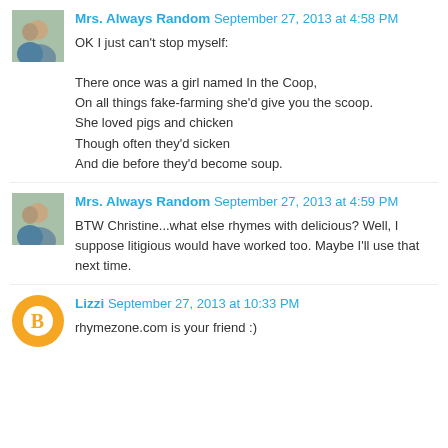Mrs. Always Random September 27, 2013 at 4:58 PM
OK I just can't stop myself:

There once was a girl named In the Coop,
On all things fake-farming she'd give you the scoop.
She loved pigs and chicken
Though often they'd sicken
And die before they'd become soup.
Mrs. Always Random September 27, 2013 at 4:59 PM
BTW Christine...what else rhymes with delicious? Well, I suppose litigious would have worked too. Maybe I'll use that next time.
Lizzi September 27, 2013 at 10:33 PM
rhymezone.com is your friend :)